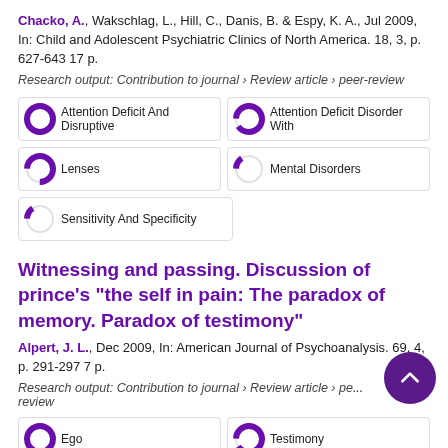Chacko, A., Wakschlag, L., Hill, C., Danis, B. & Espy, K. A., Jul 2009, In: Child and Adolescent Psychiatric Clinics of North America. 18, 3, p. 627-643 17 p.
Research output: Contribution to journal › Review article › peer-review
[Figure (infographic): Five keyword badges with donut-style percentage indicators: Attention Deficit And Disruptive (100%), Attention Deficit Disorder With (90%), Lenses (75%), Mental Disorders (15%), Sensitivity And Specificity (15%)]
Witnessing and passing. Discussion of prince's "the self in pain: The paradox of memory. Paradox of testimony"
Alpert, J. L., Dec 2009, In: American Journal of Psychoanalysis. 69, 4, p. 291-297 7 p.
Research output: Contribution to journal › Review article › peer-review
[Figure (infographic): Two keyword badges visible: Ego (100%), Testimony (90%)]